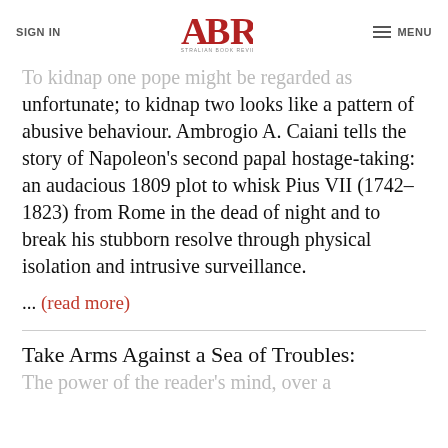SIGN IN | ABR Australian Book Review | MENU
To kidnap one pope might be regarded as unfortunate; to kidnap two looks like a pattern of abusive behaviour. Ambrogio A. Caiani tells the story of Napoleon's second papal hostage-taking: an audacious 1809 plot to whisk Pius VII (1742–1823) from Rome in the dead of night and to break his stubborn resolve through physical isolation and intrusive surveillance.
... (read more)
Take Arms Against a Sea of Troubles:
The power of the reader's mind, over a